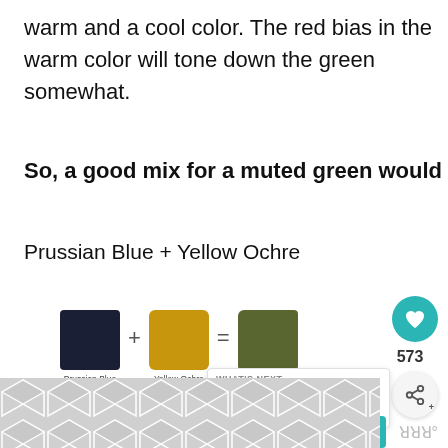warm and a cool color. The red bias in the warm color will tone down the green somewhat.
So, a good mix for a muted green would be:
Prussian Blue + Yellow Ochre
[Figure (illustration): Color mixing diagram showing Prussian Blue swatch + Yellow Ochre swatch = Muted Green (Metal Green) swatch, with labels beneath each swatch]
[Figure (illustration): WHAT'S NEXT panel: Color Mixing: How to Mix... with a thumbnail of brown paint]
[Figure (illustration): Geometric chevron/hexagon tiled pattern in light gray at the bottom of the page]